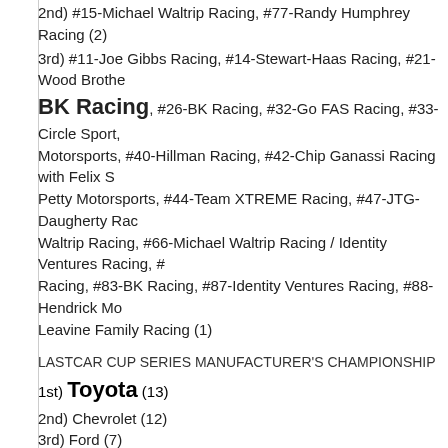2nd) #15-Michael Waltrip Racing, #77-Randy Humphrey Racing (2)
3rd) #11-Joe Gibbs Racing, #14-Stewart-Haas Racing, #21-Wood Brothers Racing, BK Racing, #26-BK Racing, #32-Go FAS Racing, #33-Circle Sport Motorsports, #40-Hillman Racing, #42-Chip Ganassi Racing with Felix Sabates Petty Motorsports, #44-Team XTREME Racing, #47-JTG-Daugherty Racing, #55-Michael Waltrip Racing, #66-Michael Waltrip Racing / Identity Ventures Racing, #78-Furniture Row Racing, #83-BK Racing, #87-Identity Ventures Racing, #88-Hendrick Motorsports, #95-Leavine Family Racing (1)
LASTCAR CUP SERIES MANUFACTURER'S CHAMPIONSHIP
1st) Toyota (13)
2nd) Chevrolet (12)
3rd) Ford (7)
Posted by Brock Beard at 7:37 PM    No comments:
TRUCKS: Mike Harmon Trails Talladega
[Figure (photo): Photo of NASCAR truck pit area with crew members in red uniforms working on a truck]
Mike Harmon ... 6th last-place ... NASCAR ... Truck Series ... Saturday's ...